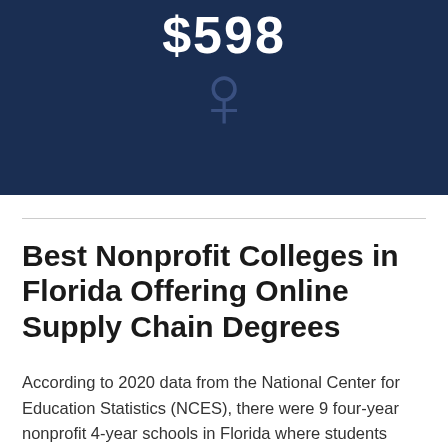[Figure (infographic): Dark navy blue banner with large white dollar amount '$598' at top and a large dark blue dollar sign symbol below it]
Best Nonprofit Colleges in Florida Offering Online Supply Chain Degrees
According to 2020 data from the National Center for Education Statistics (NCES), there were 9 four-year nonprofit 4-year schools in Florida where students completed 504 distance education supply chain degree programs. Of those schools, 5 were private